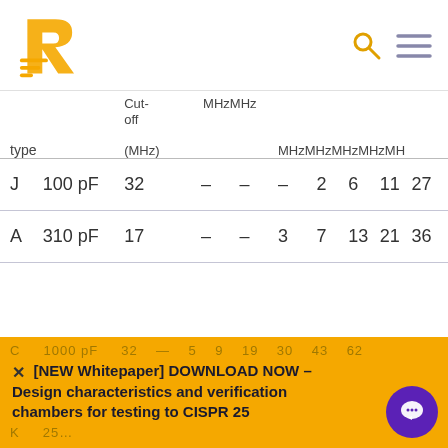R logo + search and menu icons
| type |  | Cut-off (MHz) | MHz | MHz | MHz | MHz | MHz | MHz | MH |
| --- | --- | --- | --- | --- | --- | --- | --- | --- | --- |
| J | 100 pF | 32 | – | – | – | 2 | 6 | 11 | 27 |
| A | 310 pF | 17 | – | – | 3 | 7 | 13 | 21 | 36 |
| C | 1000 pF | 32 | – | 5 | 9 | 19 | 30 | 43 | 62 |
[NEW Whitepaper] DOWNLOAD NOW – Design characteristics and verification chambers for testing to CISPR 25